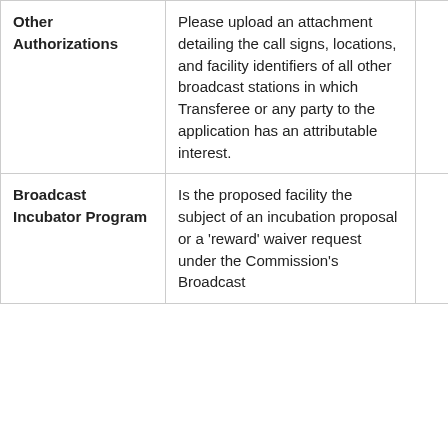| Other Authorizations | Please upload an attachment detailing the call signs, locations, and facility identifiers of all other broadcast stations in which Transferee or any party to the application has an attributable interest. |  |
| Broadcast Incubator Program | Is the proposed facility the subject of an incubation proposal or a 'reward' waiver request under the Commission's Broadcast |  |